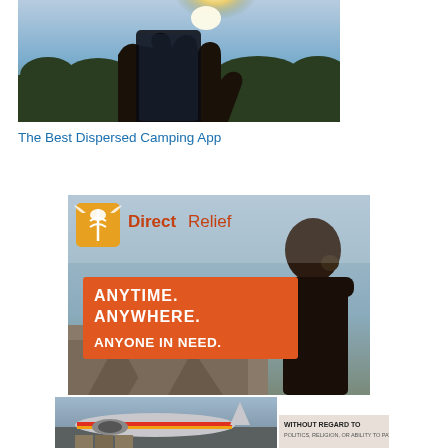[Figure (photo): A hand holding a smartphone up toward sunlight outdoors, with trees and sky in background]
The Best Dispersed Camping App
[Figure (infographic): DirectRelief advertisement banner: DirectRelief logo with orange icon, text reading ANYTIME. ANYWHERE. ANYONE IN NEED. with woman seen from behind and disaster scene background]
[Figure (photo): Bottom strip showing airplane on tarmac with cargo loading, and partial text WITHOUT REGARD TO POLITICS, RELIGION, OR ABILITY TO PAY]